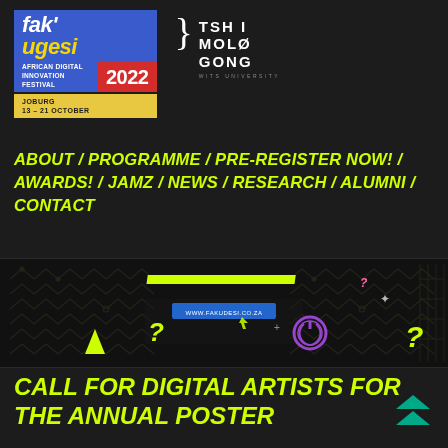[Figure (logo): Fak'ugesi African Digital Innovation Festival 2022 logo with blue background, red 2022 badge, and yellow Joburg 13-21 October date label]
[Figure (logo): Tshimologong Wits University logo in white]
ABOUT / PROGRAMME / PRE-REGISTER NOW! / AWARDS! / JAMZ / NEWS / RESEARCH / ALUMNI / CONTACT
[Figure (illustration): Dark banner with circuit board pattern, yellow geometric shapes, question marks, power button icon, cursor, and www.fakudesi.co.za URL label in teal]
CALL FOR DIGITAL ARTISTS FOR THE ANNUAL POSTER
[Figure (illustration): Two stacked teal/green triangle arrows pointing up]